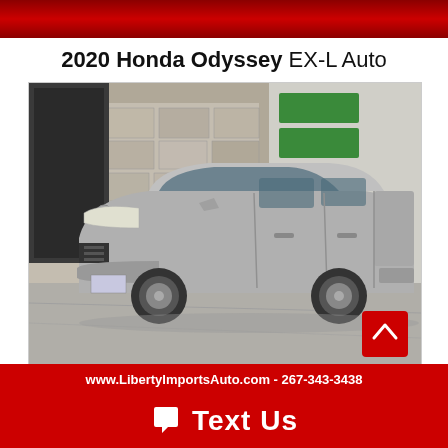2020 Honda Odyssey EX-L Auto
[Figure (photo): Silver 2020 Honda Odyssey minivan parked in front of a stone building with a garage, three-quarter front view from driver's side]
www.LibertyImportsAuto.com - 267-343-3438
Text Us